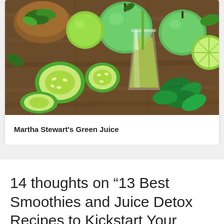[Figure (photo): Photo of green juice ingredients including green apples, limes, cucumber slices, spinach in a wooden bowl, mint leaves, and a glass of green juice on a wooden table surface]
Martha Stewart's Green Juice
14 thoughts on “13 Best Smoothies and Juice Detox Recipes to Kickstart Your Health”